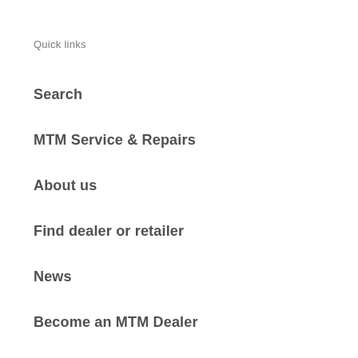Quick links
Search
MTM Service & Repairs
About us
Find dealer or retailer
News
Become an MTM Dealer